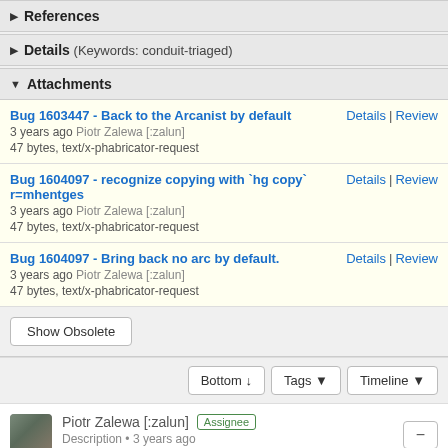References
Details (Keywords: conduit-triaged)
Attachments
Bug 1603447 - Back to the Arcanist by default
3 years ago Piotr Zalewa [:zalun]
47 bytes, text/x-phabricator-request
Details | Review
Bug 1604097 - recognize copying with `hg copy` r=mhentges
3 years ago Piotr Zalewa [:zalun]
47 bytes, text/x-phabricator-request
Details | Review
Bug 1604097 - Bring back no arc by default.
3 years ago Piotr Zalewa [:zalun]
47 bytes, text/x-phabricator-request
Details | Review
Show Obsolete
Bottom ↓   Tags ▼   Timeline ▼
Piotr Zalewa [:zalun] Assignee
Description • 3 years ago